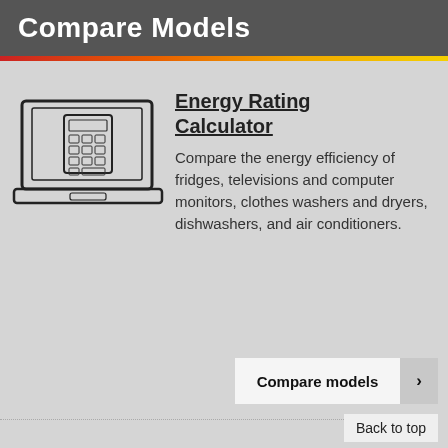Compare Models
[Figure (illustration): Laptop computer with a calculator icon on the screen, drawn in outline style]
Energy Rating Calculator
Compare the energy efficiency of fridges, televisions and computer monitors, clothes washers and dryers, dishwashers, and air conditioners.
Compare models
Back to top